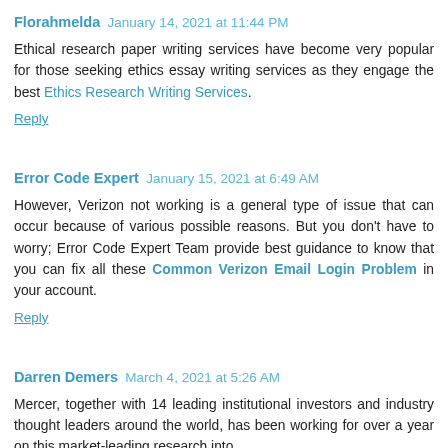Florahmelda  January 14, 2021 at 11:44 PM
Ethical research paper writing services have become very popular for those seeking ethics essay writing services as they engage the best Ethics Research Writing Services.
Reply
Error Code Expert  January 15, 2021 at 6:49 AM
However, Verizon not working is a general type of issue that can occur because of various possible reasons. But you don't have to worry; Error Code Expert Team provide best guidance to know that you can fix all these Common Verizon Email Login Problem in your account.
Reply
Darren Demers  March 4, 2021 at 5:26 AM
Mercer, together with 14 leading institutional investors and industry thought leaders around the world, has been working for over a year on this market-leading research into